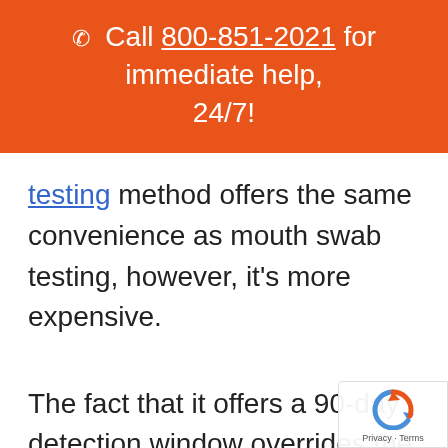☎ Call 800-851-2021 for immediate help, 24/7!
testing method offers the same convenience as mouth swab testing, however, it's more expensive.
The fact that it offers a 90-day detection window overrides the additional cost in the eyes of more and more business owners. In fact, the officially requested that the hair tes...